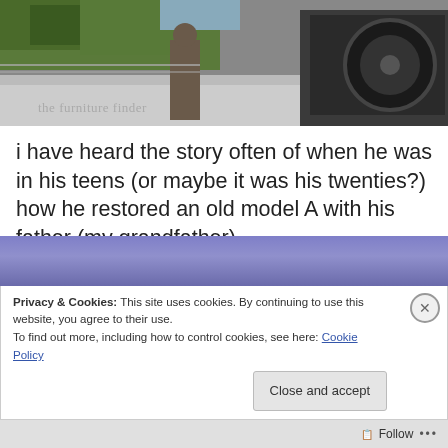[Figure (photo): Outdoor photo showing a vehicle with spare tire on back, a person standing nearby, and trees in background. Text overlay reads 'the furniture finder'.]
i have heard the story often of when he was in his teens (or maybe it was his twenties?) how he restored an old model A with his father (my grandfather).
Privacy & Cookies: This site uses cookies. By continuing to use this website, you agree to their use.
To find out more, including how to control cookies, see here: Cookie Policy
Close and accept
Follow